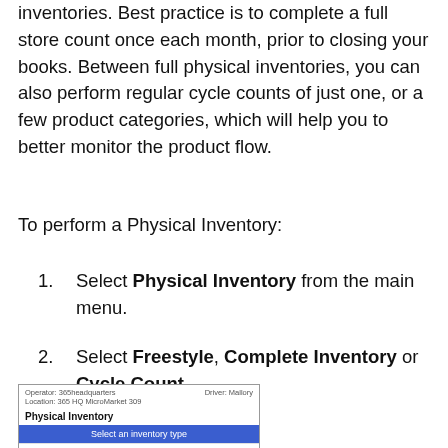inventories. Best practice is to complete a full store count once each month, prior to closing your books. Between full physical inventories, you can also perform regular cycle counts of just one, or a few product categories, which will help you to better monitor the product flow.
To perform a Physical Inventory:
1. Select Physical Inventory from the main menu.
2. Select Freestyle, Complete Inventory or Cycle Count.
[Figure (screenshot): A screenshot of the Physical Inventory screen showing 'Select an inventory type' blue bar and 'Freestyle' option with a right arrow.]